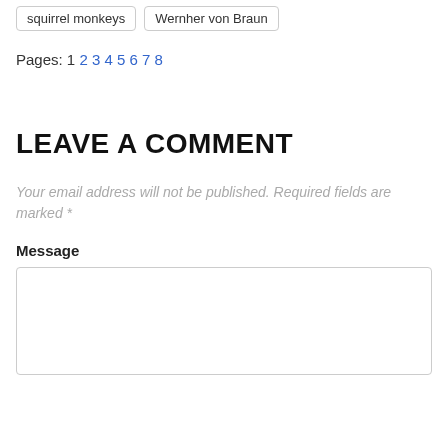squirrel monkeys   Wernher von Braun
Pages: 1 2 3 4 5 6 7 8
LEAVE A COMMENT
Your email address will not be published. Required fields are marked *
Message
[Figure (other): Empty message text area input box]